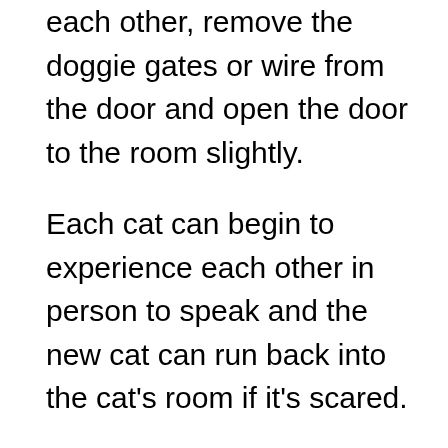each other, remove the doggie gates or wire from the door and open the door to the room slightly.
Each cat can begin to experience each other in person to speak and the new cat can run back into the cat's room if it's scared.
If it does this, shut the door so it feels safe and your other cat can't follow it. Keep this process up until the door is entirely open and the cats can roam the home freely together.
Be aware that you may need to monitor the cats when they are together for quite some